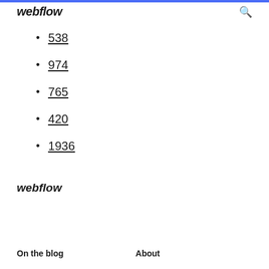webflow
538
974
765
420
1936
webflow
On the blog   About